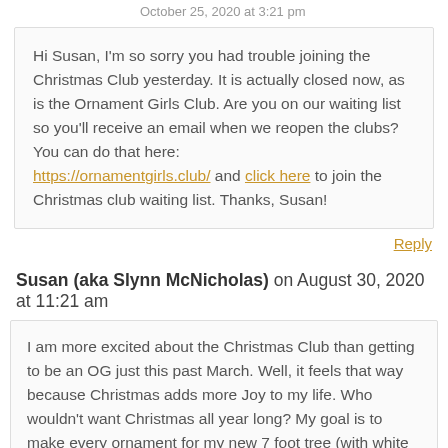October 25, 2020 at 3:21 pm
Hi Susan, I'm so sorry you had trouble joining the Christmas Club yesterday. It is actually closed now, as is the Ornament Girls Club. Are you on our waiting list so you'll receive an email when we reopen the clubs? You can do that here: https://ornamentgirls.club/ and click here to join the Christmas club waiting list. Thanks, Susan!
Reply
Susan (aka Slynn McNicholas) on August 30, 2020 at 11:21 am
I am more excited about the Christmas Club than getting to be an OG just this past March. Well, it feels that way because Christmas adds more Joy to my life. Who wouldn't want Christmas all year long? My goal is to make every ornament for my new 7 foot tree (with white lights) replacing